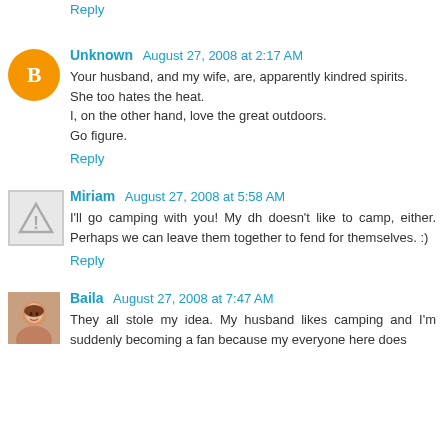Reply
Unknown  August 27, 2008 at 2:17 AM
Your husband, and my wife, are, apparently kindred spirits. She too hates the heat.
I, on the other hand, love the great outdoors.
Go figure.
Reply
Miriam  August 27, 2008 at 5:58 AM
I'll go camping with you! My dh doesn't like to camp, either. Perhaps we can leave them together to fend for themselves. :)
Reply
Baila  August 27, 2008 at 7:47 AM
They all stole my idea. My husband likes camping and I'm suddenly becoming a fan because my everyone here does